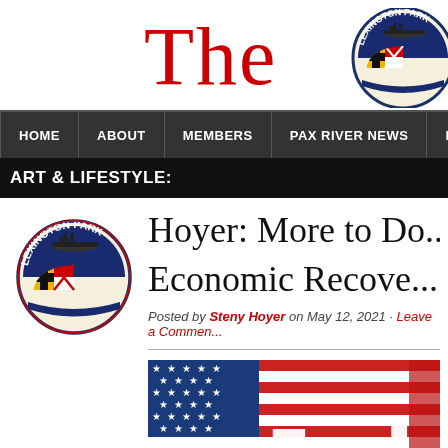THE [Lexington Park logo]
HOME | ABOUT | MEMBERS | PAX RIVER NEWS | BUSINESS | COMMUN...
ART & LIFESTYLE:
[Figure (logo): Lexington Park circular badge logo with ship silhouette, Maryland flag colors, and text LEXINGTON PARK]
Hoyer: More to Do... Economic Recove...
Posted by Steny Hoyer on May 12, 2021 · Leave a Commen...
[Figure (photo): Photo of American flag with white block letters 'Job...' overlaid on it, with a partial red element on right]